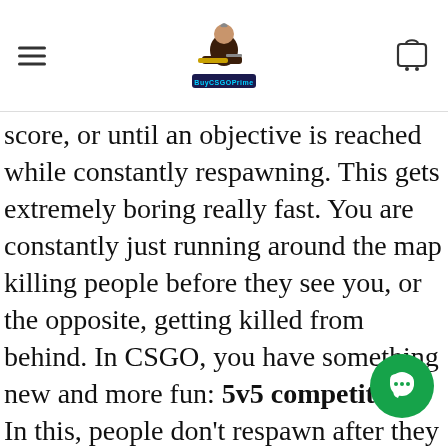BuyCSGOPrime – navigation header with logo and hamburger menu
score, or until an objective is reached while constantly respawning. This gets extremely boring really fast. You are constantly just running around the map killing people before they see you, or the opposite, getting killed from behind. In CSGO, you have something new and more fun: 5v5 competitive. In this, people don't respawn after they die until the round is over. This allows for much more strategic play and more individual skills. Though there are games that are now trying to copy the concept however they have not been able to take replace Counter